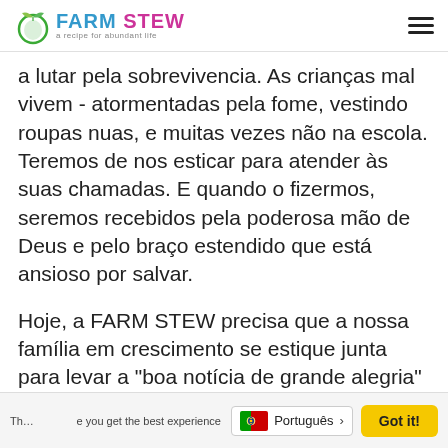FARM STEW — a recipe for abundant life
a lutar pela sobrevivencia. As crianças mal vivem - atormentadas pela fome, vestindo roupas nuas, e muitas vezes não na escola. Teremos de nos esticar para atender às suas chamadas. E quando o fizermos, seremos recebidos pela poderosa mão de Deus e pelo braço estendido que está ansioso por salvar.
Hoje, a FARM STEW precisa que a nossa família em crescimento se estique junta para levar a "boa notícia de grande alegria" àqueles que mais precisam.
Th… you get the best experience or… Português > Got it!